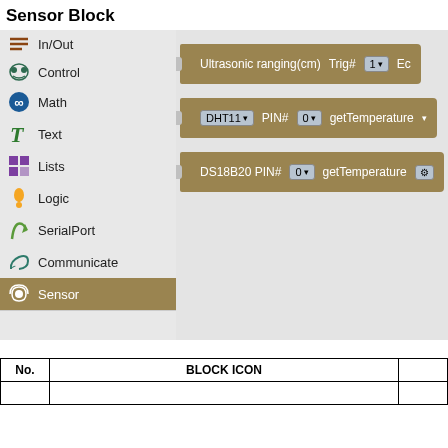Sensor Block
[Figure (screenshot): A block-based programming interface showing the Sensor category selected on the left panel. The left panel has menu items: In/Out, Control, Math, Text, Lists, Logic, SerialPort, Communicate, Sensor (highlighted in gold/brown). The right panel shows three sensor blocks: Ultrasonic ranging(cm) with Trig# 1 dropdown; DHT11 PIN# 0 dropdown getTemperature; DS18B20 PIN# 0 dropdown getTemperature.]
| No. | BLOCK ICON |  |
| --- | --- | --- |
|  |  |  |